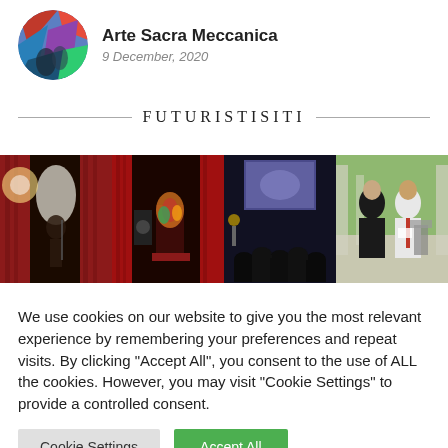[Figure (photo): Circular avatar image with colorful abstract/artistic painting — Arte Sacra Meccanica blog profile picture]
Arte Sacra Meccanica
9 December, 2020
FUTURISTISITI
[Figure (photo): Four side-by-side event photos showing performers on stage with red curtains, a decorated stage with sculptures, an audience watching a projection screen, and two people at a podium outdoors.]
We use cookies on our website to give you the most relevant experience by remembering your preferences and repeat visits. By clicking “Accept All”, you consent to the use of ALL the cookies. However, you may visit “Cookie Settings” to provide a controlled consent.
Cookie Settings
Accept All